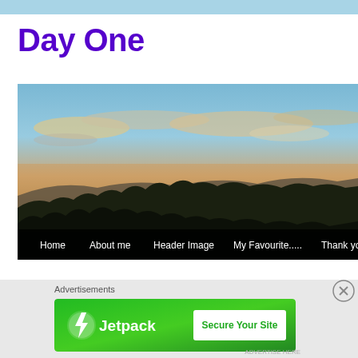Day One
[Figure (photo): Landscape photo showing a hillside with dark silhouetted trees in the foreground, rolling mountains in the background, and a partly cloudy sky with warm golden light on the clouds. Navigation bar at bottom reads: Home | About me | Header Image | My Favourite..... | Thank you]
Advertisements
[Figure (other): Jetpack advertisement banner with green background, Jetpack lightning bolt logo and name on left, 'Secure Your Site' button on right]